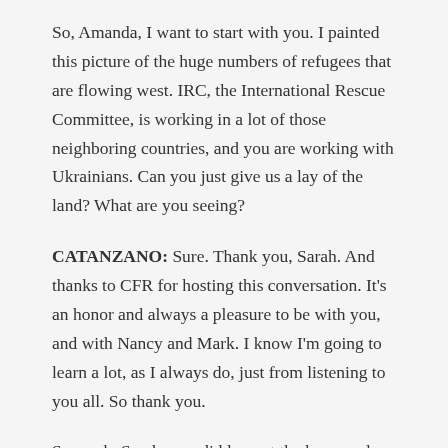So, Amanda, I want to start with you. I painted this picture of the huge numbers of refugees that are flowing west. IRC, the International Rescue Committee, is working in a lot of those neighboring countries, and you are working with Ukrainians. Can you just give us a lay of the land? What are you seeing?
CATANZANO: Sure. Thank you, Sarah. And thanks to CFR for hosting this conversation. It's an honor and always a pleasure to be with you, and with Nancy and Mark. I know I'm going to learn a lot, as I always do, just from listening to you all. So thank you.
So, yeah. Sarah, you did lay out the huge scale of this